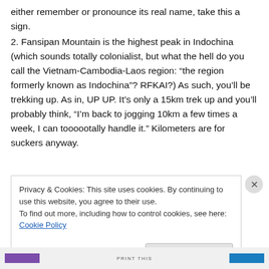either remember or pronounce its real name, take this a sign.
2. Fansipan Mountain is the highest peak in Indochina (which sounds totally colonialist, but what the hell do you call the Vietnam-Cambodia-Laos region: “the region formerly known as Indochina”? RFKAI?) As such, you’ll be trekking up. As in, UP UP. It’s only a 15km trek up and you’ll probably think, “I’m back to jogging 10km a few times a week, I can toooootally handle it.” Kilometers are for suckers anyway.
Privacy & Cookies: This site uses cookies. By continuing to use this website, you agree to their use.
To find out more, including how to control cookies, see here: Cookie Policy